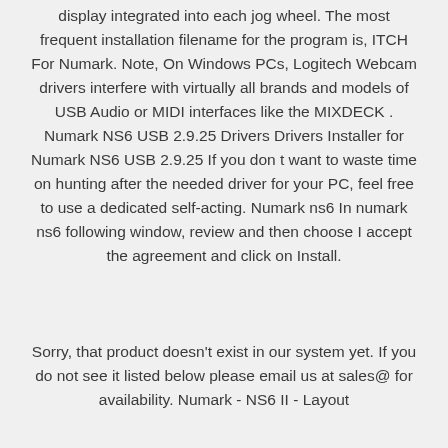display integrated into each jog wheel. The most frequent installation filename for the program is, ITCH For Numark. Note, On Windows PCs, Logitech Webcam drivers interfere with virtually all brands and models of USB Audio or MIDI interfaces like the MIXDECK . Numark NS6 USB 2.9.25 Drivers Drivers Installer for Numark NS6 USB 2.9.25 If you don t want to waste time on hunting after the needed driver for your PC, feel free to use a dedicated self-acting. Numark ns6 In numark ns6 following window, review and then choose I accept the agreement and click on Install.
Sorry, that product doesn't exist in our system yet. If you do not see it listed below please email us at sales@ for availability. Numark - NS6 II - Layout